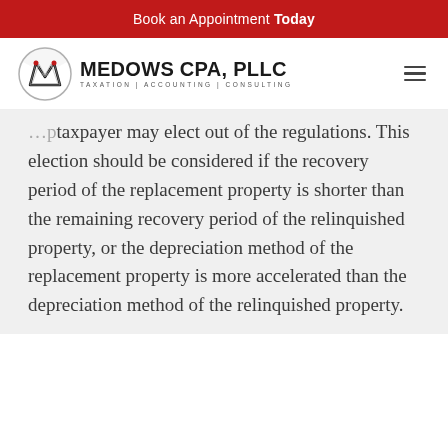Book an Appointment Today
[Figure (logo): Medows CPA, PLLC logo with circular M emblem. Text: MEDOWS CPA, PLLC / TAXATION | ACCOUNTING | CONSULTING]
taxpayer may elect out of the regulations. This election should be considered if the recovery period of the replacement property is shorter than the remaining recovery period of the relinquished property, or the depreciation method of the replacement property is more accelerated than the depreciation method of the relinquished property.